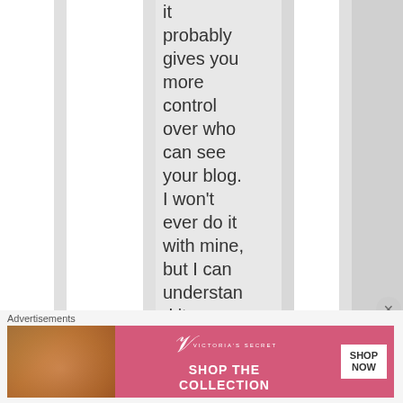it probably gives you more control over who can see your blog. I won't ever do it with mine, but I can understand it, even though I hate it.
[Figure (other): A blue star symbol below the main text block]
Advertisements
[Figure (photo): Victoria's Secret advertisement banner showing a woman, the VS logo, 'SHOP THE COLLECTION' text, and a 'SHOP NOW' button]